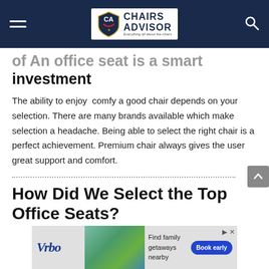Chairs Advisor — Everything all about the chairs
of An office seat is a smart investment
The ability to enjoy  comfy a good chair depends on your selection. There are many brands available which make selection a headache. Being able to select the right chair is a perfect achievement. Premium chair always gives the user great support and comfort.
How Did We Select the Top Office Seats?
[Figure (other): Vrbo advertisement banner: Find family getaways nearby — Book early button]